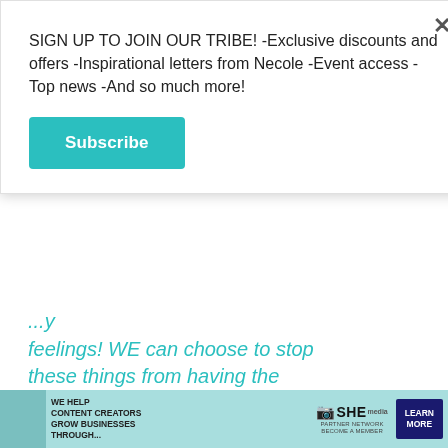SIGN UP TO JOIN OUR TRIBE! -Exclusive discounts and offers -Inspirational letters from Necole -Event access -Top news -And so much more!
Subscribe
feelings! WE can choose to stop these things from having the power and victory o... starts TODAY...
[Figure (screenshot): Video player overlay showing 'Loading ad' text, a loading spinner icon, and video controls (pause, fullscreen, mute) on a black background]
At the end of the da... that black women m... to hair. Haircuts signi...uy different things for different
[Figure (infographic): Bottom advertisement banner for SHE Media Partner Network with text: WE HELP CONTENT CREATORS GROW BUSINESSES THROUGH... and a LEARN MORE button]